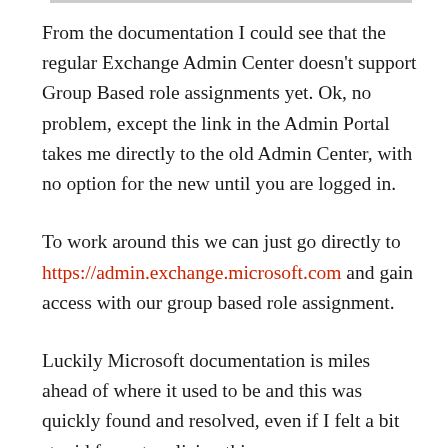From the documentation I could see that the regular Exchange Admin Center doesn't support Group Based role assignments yet. Ok, no problem, except the link in the Admin Portal takes me directly to the old Admin Center, with no option for the new until you are logged in.
To work around this we can just go directly to https://admin.exchange.microsoft.com and gain access with our group based role assignment.
Luckily Microsoft documentation is miles ahead of where it used to be and this was quickly found and resolved, even if I felt a bit stupid for not realizing this